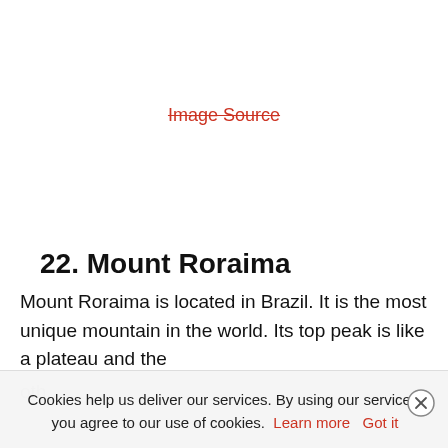[Figure (other): Image placeholder area, white/blank, with a red strikethrough link text 'Image Source' in the center]
Image Source
22. Mount Roraima
Mount Roraima is located in Brazil. It is the most unique mountain in the world. Its top peak is like a plateau and the oth...
Cookies help us deliver our services. By using our services, you agree to our use of cookies. Learn more   Got it